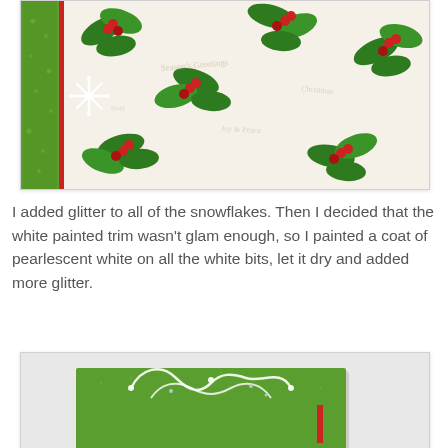[Figure (photo): Close-up photo of a Christmas card with holly pattern paper (green leaves and red berries on cream background), green border strip on left with red edge, and white snowflake embellishments.]
I added glitter to all of the snowflakes. Then I decided that the white painted trim wasn't glam enough, so I painted a coat of pearlescent white on all the white bits, let it dry and added more glitter.
[Figure (photo): Photo of a completed Christmas card showing a green and red layered card with holly patterned paper, white ornate trim at the top, snowflake embellishments, a banner reading 'Making a list, checking it twice......', three circular clock/medal decorations with reindeer, and holly leaves pattern in the lower section.]